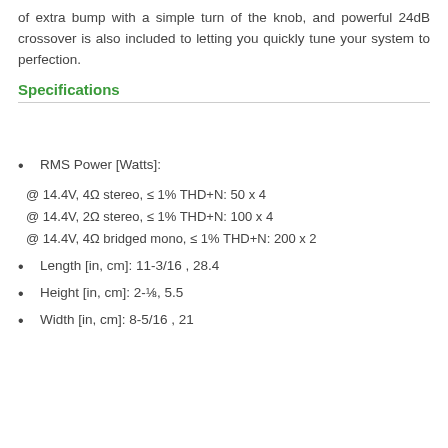of extra bump with a simple turn of the knob, and powerful 24dB crossover is also included to letting you quickly tune your system to perfection.
Specifications
RMS Power [Watts]:
@ 14.4V, 4Ω stereo, ≤ 1% THD+N: 50 x 4
@ 14.4V, 2Ω stereo, ≤ 1% THD+N: 100 x 4
@ 14.4V, 4Ω bridged mono, ≤ 1% THD+N: 200 x 2
Length [in, cm]: 11-3/16 , 28.4
Height [in, cm]: 2-⅛, 5.5
Width [in, cm]: 8-5/16 , 21